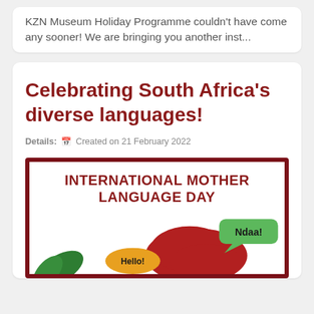KZN Museum Holiday Programme couldn't have come any sooner! We are bringing you another inst...
Celebrating South Africa's diverse languages!
Details: Created on 21 February 2022
[Figure (illustration): International Mother Language Day poster with bold red-maroon title text, a red silhouette of Africa, and speech bubbles saying 'Hello!' in orange and 'Ndaa!' in green]